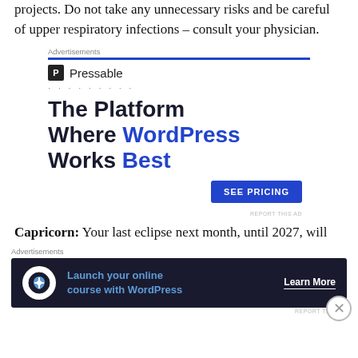projects. Do not take any unnecessary risks and be careful of upper respiratory infections – consult your physician.
[Figure (other): Pressable advertisement banner: logo with 'P Pressable', dots, headline 'The Platform Where WordPress Works Best' with 'WordPress' and 'Best' in blue, and a blue 'SEE PRICING' button]
Capricorn: Your last eclipse next month, until 2027, will
[Figure (other): Advertisement banner: dark navy background with WordPress cloud icon, text 'Launch your online course with WordPress' in blue, and 'Learn More' call to action in white]